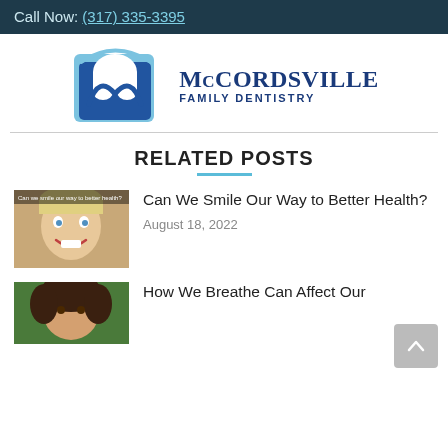Call Now: (317) 335-3395
[Figure (logo): McCordsville Family Dentistry logo with blue tooth icon and brand name]
RELATED POSTS
[Figure (photo): Smiling toddler with blonde hair, thumbnail for 'Can We Smile Our Way to Better Health?' post]
Can We Smile Our Way to Better Health?
August 18, 2022
[Figure (photo): Person with dark curly hair, thumbnail for 'How We Breathe Can Affect Our' post]
How We Breathe Can Affect Our